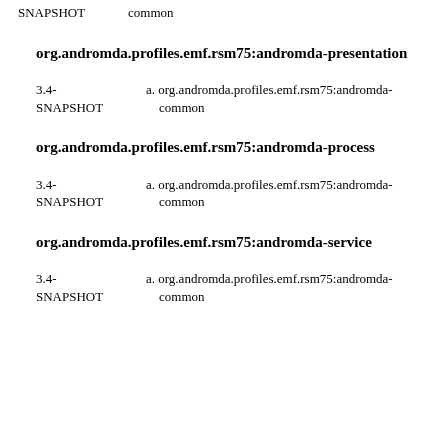3.4-SNAPSHOT    a. org.andromda.profiles.emf.rsm75:andromda-common
org.andromda.profiles.emf.rsm75:andromda-presentation
3.4-SNAPSHOT    a. org.andromda.profiles.emf.rsm75:andromda-common
org.andromda.profiles.emf.rsm75:andromda-process
3.4-SNAPSHOT    a. org.andromda.profiles.emf.rsm75:andromda-common
org.andromda.profiles.emf.rsm75:andromda-service
3.4-SNAPSHOT    a. org.andromda.profiles.emf.rsm75:andromda-common